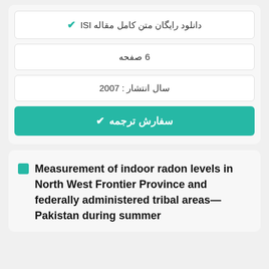✔ دانلود رایگان متن کامل مقاله ISI
6 صفحه
سال انتشار : 2007
✔ سفارش ترجمه
Measurement of indoor radon levels in North West Frontier Province and federally administered tribal areas—Pakistan during summer